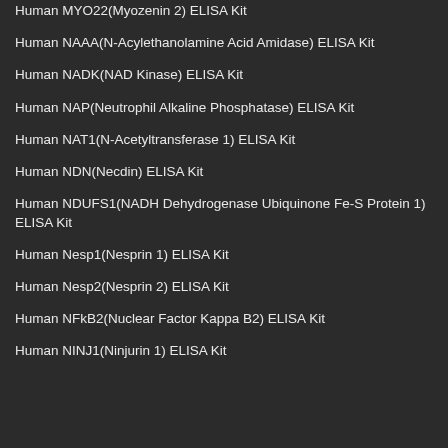Human MYO22(Myozenin 2) ELISA Kit
Human NAAA(N-Acylethanolamine Acid Amidase) ELISA Kit
Human NADK(NAD Kinase) ELISA Kit
Human NAP(Neutrophil Alkaline Phosphatase) ELISA Kit
Human NAT1(N-Acetyltransferase 1) ELISA Kit
Human NDN(Necdin) ELISA Kit
Human NDUFS1(NADH Dehydrogenase Ubiquinone Fe-S Protein 1) ELISA Kit
Human Nesp1(Nesprin 1) ELISA Kit
Human Nesp2(Nesprin 2) ELISA Kit
Human NFkB2(Nuclear Factor Kappa B2) ELISA Kit
Human NINJ1(Ninjurin 1) ELISA Kit